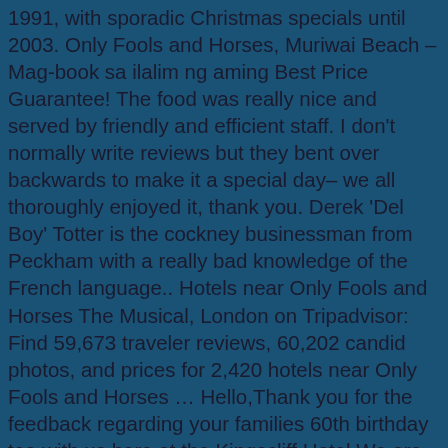1991, with sporadic Christmas specials until 2003. Only Fools and Horses, Muriwai Beach – Mag-book sa ilalim ng aming Best Price Guarantee! The food was really nice and served by friendly and efficient staff. I don't normally write reviews but they bent over backwards to make it a special day– we all thoroughly enjoyed it, thank you. Derek 'Del Boy' Totter is the cockney businessman from Peckham with a really bad knowledge of the French language.. Hotels near Only Fools and Horses The Musical, London on Tripadvisor: Find 59,673 traveler reviews, 60,202 candid photos, and prices for 2,420 hotels near Only Fools and Horses … Hello,Thank you for the feedback regarding your families 60th birthday tea with us here at the Kingscliff Hotel.We are very pleased you had an excellent time, I will pass your comments on to the team.We look forward to welcoming you back to the hotel soon.Thanks again.HollieOperations Manager. Join the Trotter brothers and friends for a knees-up at The Nag's Head pub as they try to drum up some cash, pay some debts, and make a cheeky saving on the side. After witnessing Trigger's unexpected success with his date from a local computer dating agency, Del fancies his chances of having some too. Written by Paul Whitehouse and Jim … Only Fools and Horses.... is a British television sitcom created and written by John Sullivan.Seven series were originally broadcast on BBC One in the United Kingdom from 1981 to 1991, with sixteen sporadic Christmas specials aired until the end of the show in 2003. THIS EVENT HAS NOW